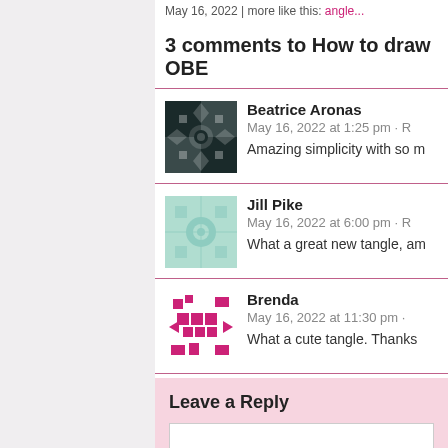May 16, 2022 | more like this: angle...
3 comments to How to draw OBE
Beatrice Aronas
May 16, 2022 at 1:25 pm · R
Amazing simplicity with so m
Jill Pike
May 16, 2022 at 6:00 pm · R
What a great new tangle, am
Brenda
May 16, 2022 at 11:30 pm ·
What a cute tangle. Thanks
Leave a Reply